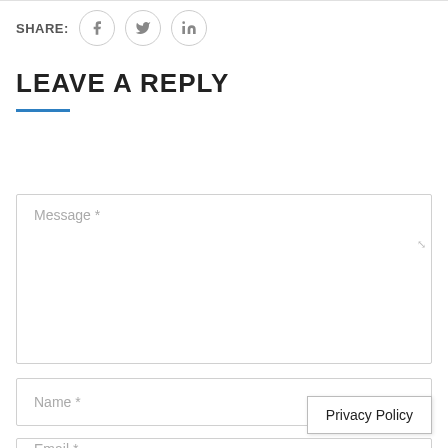SHARE:
LEAVE A REPLY
Message *
Name *
Email *
Privacy Policy